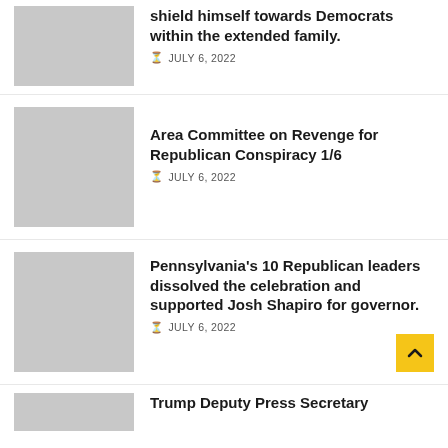[Figure (photo): Article thumbnail image placeholder (gray rectangle)]
shield himself towards Democrats within the extended family.
JULY 6, 2022
[Figure (photo): Article thumbnail image placeholder (gray rectangle)]
Area Committee on Revenge for Republican Conspiracy 1/6
JULY 6, 2022
[Figure (photo): Article thumbnail image placeholder (gray rectangle)]
Pennsylvania's 10 Republican leaders dissolved the celebration and supported Josh Shapiro for governor.
JULY 6, 2022
[Figure (photo): Article thumbnail image placeholder (gray rectangle)]
Trump Deputy Press Secretary